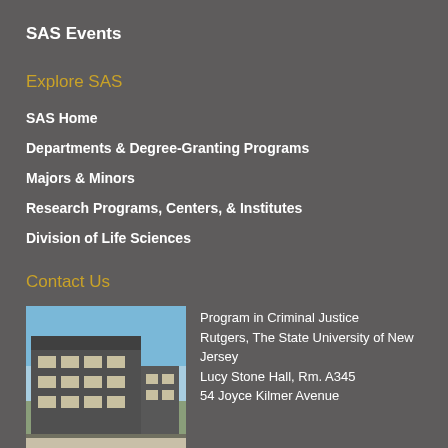SAS Events
Explore SAS
SAS Home
Departments & Degree-Granting Programs
Majors & Minors
Research Programs, Centers, & Institutes
Division of Life Sciences
Contact Us
[Figure (photo): Exterior photo of a building, likely Lucy Stone Hall at Rutgers University, with a blue sky background and paved road in the foreground.]
Program in Criminal Justice
Rutgers, The State University of New Jersey
Lucy Stone Hall, Rm. A345
54 Joyce Kilmer Avenue
Piscataway, NJ 08854